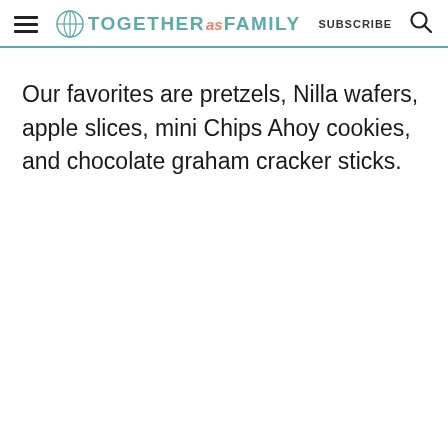TOGETHER as FAMILY | SUBSCRIBE
Our favorites are pretzels, Nilla wafers, apple slices, mini Chips Ahoy cookies, and chocolate graham cracker sticks.